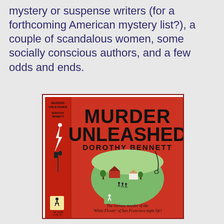mystery or suspense writers (for a forthcoming American mystery list?), a couple of scandalous women, some socially conscious authors, and a few odds and ends.
[Figure (photo): Book cover of 'Murder Unleashed' by Dorothy Bennett. Red cover with large bold black title text 'MURDER UNLEASHED' and author name 'DOROTHY BENNETT'. An oval illustration shows a rural scene with houses, trees, and running figures. Bottom text reads 'The curious murder of the White Flower of San Francisco night life!' Published by The Crime Club, Inc. The spine shows the title, author, a lightning bolt graphic, and the Crime Club logo.]